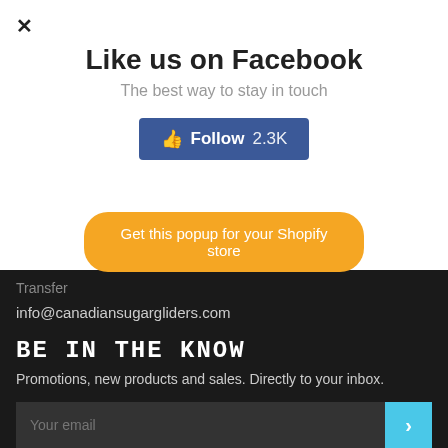×
Like us on Facebook
The best way to stay in touch
[Figure (other): Blue Facebook Follow button with thumbs up icon showing Follow 2.3K]
[Figure (other): Orange button: Get this popup for your Shopify store]
Transfer
info@canadiansugargliders.com
BE IN THE KNOW
Promotions, new products and sales. Directly to your inbox.
[Figure (other): Email input field with Your email placeholder and cyan arrow submit button]